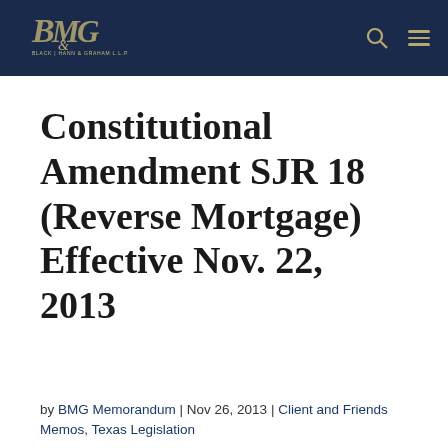Black Hann & Graham LLP [logo]
Constitutional Amendment SJR 18 (Reverse Mortgage) Effective Nov. 22, 2013
by BMG Memorandum | Nov 26, 2013 | Client and Friends Memos, Texas Legislation